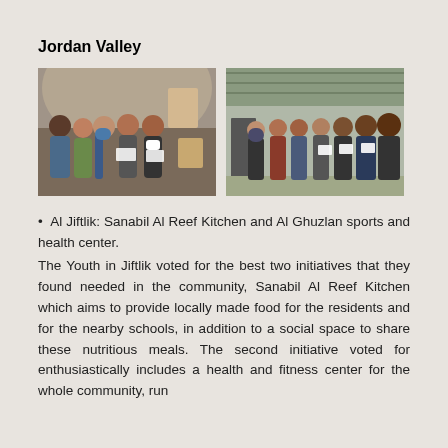Jordan Valley
[Figure (photo): Two photos side by side: Left photo shows a group of people indoors in a round tent-like structure, exchanging papers/certificates. Right photo shows a group of people standing outdoors in front of a building, holding papers/certificates.]
Al Jiftlik: Sanabil Al Reef Kitchen and Al Ghuzlan sports and health center.
The Youth in Jiftlik voted for the best two initiatives that they found needed in the community, Sanabil Al Reef Kitchen which aims to provide locally made food for the residents and for the nearby schools, in addition to a social space to share these nutritious meals. The second initiative voted for enthusiastically includes a health and fitness center for the whole community, run